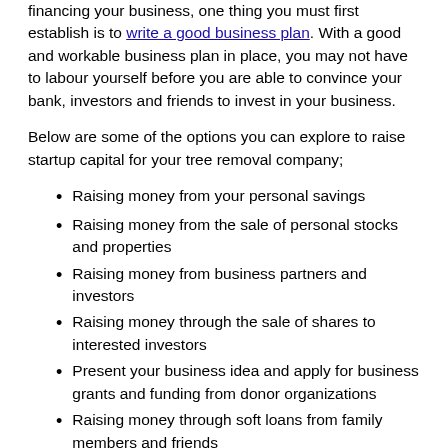financing your business, one thing you must first establish is to write a good business plan. With a good and workable business plan in place, you may not have to labour yourself before you are able to convince your bank, investors and friends to invest in your business.
Below are some of the options you can explore to raise startup capital for your tree removal company;
Raising money from your personal savings
Raising money from the sale of personal stocks and properties
Raising money from business partners and investors
Raising money through the sale of shares to interested investors
Present your business idea and apply for business grants and funding from donor organizations
Raising money through soft loans from family members and friends
14. Choose a Suitable Location for your Business